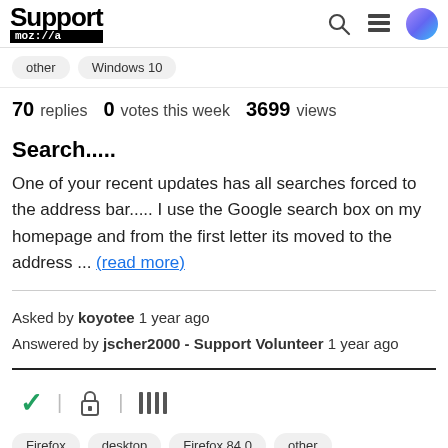Support moz://a
other   Windows 10
70 replies  0 votes this week  3699 views
Search.....
One of your recent updates has all searches forced to the address bar..... I use the Google search box on my homepage and from the first letter its moved to the address ... (read more)
Asked by koyotee 1 year ago
Answered by jscher2000 - Support Volunteer 1 year ago
[Figure (other): Browser toolbar icons: green checkmark, lock icon, library icon]
Firefox  desktop  Firefox 84.0  other
PrintUI2021  Windows 10